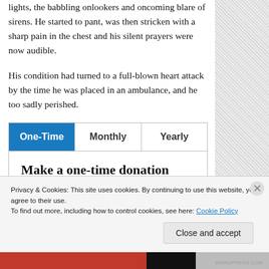lights, the babbling onlookers and oncoming blare of sirens. He started to pant, was then stricken with a sharp pain in the chest and his silent prayers were now audible.
His condition had turned to a full-blown heart attack by the time he was placed in an ambulance, and he too sadly perished.
| One-Time | Monthly | Yearly |
| --- | --- | --- |
| Make a one-time donation |  |  |
| Choose an amount |  |  |
Privacy & Cookies: This site uses cookies. By continuing to use this website, you agree to their use.
To find out more, including how to control cookies, see here: Cookie Policy
Close and accept